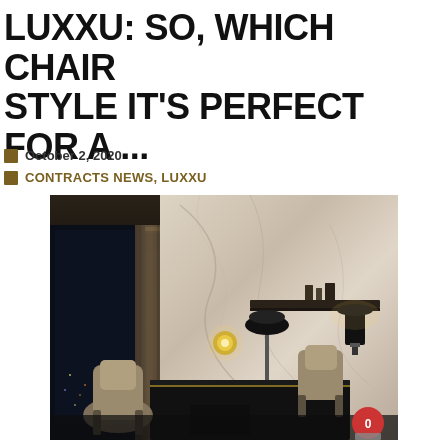LUXXU: SO, WHICH CHAIR STYLE IT'S PERFECT FOR A ...
October 2, 2020
CONTRACTS NEWS, LUXXU
[Figure (photo): Luxury interior office or hotel room scene with black marble desk, beige upholstered chairs, marble walls, black floor lamp, gold wall sconce, and cityscape visible through window at night.]